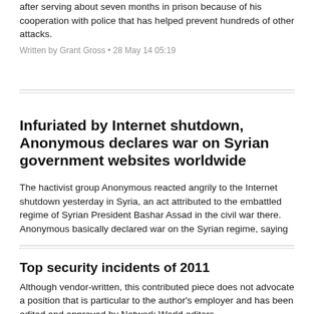after serving about seven months in prison because of his cooperation with police that has helped prevent hundreds of other attacks.
Written by Grant Gross • 28 May 14 05:19
Infuriated by Internet shutdown, Anonymous declares war on Syrian government websites worldwide
The hactivist group Anonymous reacted angrily to the Internet shutdown yesterday in Syria, an act attributed to the embattled regime of Syrian President Bashar Assad in the civil war there. Anonymous basically declared war on the Syrian regime, saying it intends to obliterate "all Web assets belonging to the Assad regime that are NOT hosted in Syria," starting today.
Written by Ellen Messmer • 30 Nov. 12 18:41
Top security incidents of 2011
Although vendor-written, this contributed piece does not advocate a position that is particular to the author's employer and has been edited and approved by Network World editors.